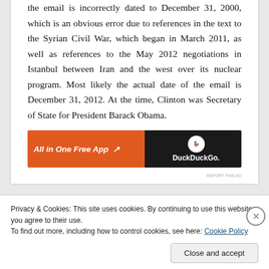the email is incorrectly dated to December 31, 2000, which is an obvious error due to references in the text to the Syrian Civil War, which began in March 2011, as well as references to the May 2012 negotiations in Istanbul between Iran and the west over its nuclear program. Most likely the actual date of the email is December 31, 2012. At the time, Clinton was Secretary of State for President Barack Obama.
[Figure (other): DuckDuckGo advertisement banner: orange section with 'All in One Free App' text, dark section with DuckDuckGo logo]
Privacy & Cookies: This site uses cookies. By continuing to use this website, you agree to their use.
To find out more, including how to control cookies, see here: Cookie Policy